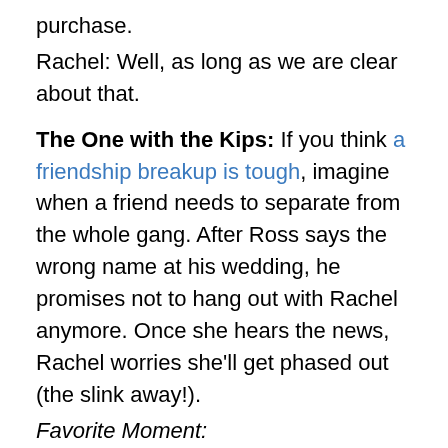purchase.
Rachel: Well, as long as we are clear about that.
The One with the Kips: If you think a friendship breakup is tough, imagine when a friend needs to separate from the whole gang. After Ross says the wrong name at his wedding, he promises not to hang out with Rachel anymore. Once she hears the news, Rachel worries she'll get phased out (the slink away!).
Favorite Moment:
Monica: You’re not gonna be phased out!
Rachel: Well, of course I am! It’s not gonna happen to Ross! He’s your brother. He’s your old college roommate. Ugh, it was just a matter of time before someone had to leave the group. I just always assumed Phoebe would be the one to go.
Phoebe: Ehh!!